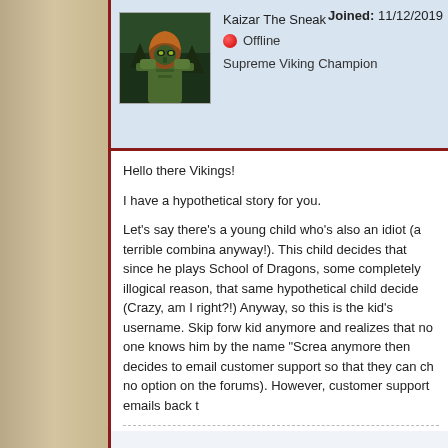[Figure (illustration): Avatar of Kaizar The Sneak — a green armored viking/dragon rider character with an orange hood, on a dark forest background]
Kaizar The Sneak
Joined: 11/12/2019
Offline
Supreme Viking Champion
Hello there Vikings!

I have a hypothetical story for you.

Let's say there's a young child who's also an idiot (a terrible combina anyway!). This child decides that since he plays School of Dragons, some completely illogical reason, that same hypothetical child decide (Crazy, am I right?!) Anyway, so this is the kid's username. Skip forw kid anymore and realizes that no one knows him by the name "Screa anymore then decides to email customer support so that they can ch no option on the forums). However, customer support emails back t
Samantha J. (School of Dragons)
May 11, 2022, 6:20 PM PDT

Hello Kaizar,

Thank you for contacting School of Dragons Support.